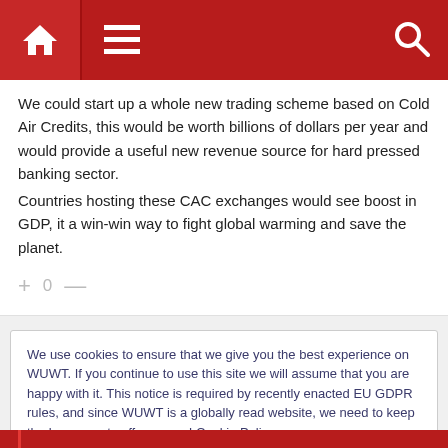[Figure (screenshot): Red navigation bar with home icon, hamburger menu icon, and search icon on dark red background]
We could start up a whole new trading scheme based on Cold Air Credits, this would be worth billions of dollars per year and would provide a useful new revenue source for hard pressed banking sector.
Countries hosting these CAC exchanges would see boost in GDP, it a win-win way to fight global warming and save the planet.
+ 0 —
We use cookies to ensure that we give you the best experience on WUWT. If you continue to use this site we will assume that you are happy with it. This notice is required by recently enacted EU GDPR rules, and since WUWT is a globally read website, we need to keep the bureaucrats off our case! Cookie Policy
Close and accept